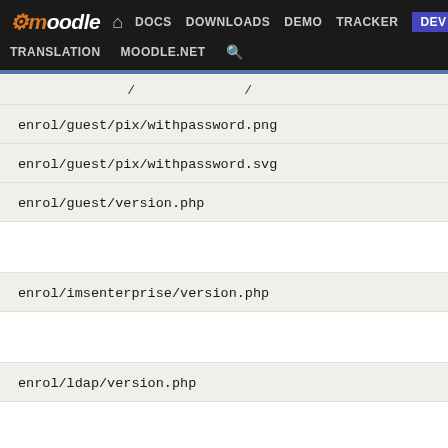moodle DOCS DOWNLOADS DEMO TRACKER DEV TRANSLATION MOODLE.NET
enrol/guest/pix/withpassword.png
enrol/guest/pix/withpassword.svg
enrol/guest/version.php
enrol/imsenterprise/version.php
enrol/ldap/version.php
enrol/manual/version.php
enrol/manual/yui/quickenrolment/assets/skins/sam/quickenro…